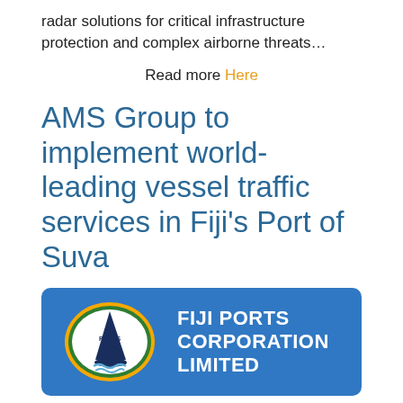radar solutions for critical infrastructure protection and complex airborne threats…
Read more Here
AMS Group to implement world-leading vessel traffic services in Fiji's Port of Suva
[Figure (logo): Fiji Ports Corporation Limited logo on blue banner background. The logo shows an oval shape with orange and green border, a dark blue sailboat fin/sail, the text FIJI PORTS, and blue wave lines below. To the right in white bold text: FIJI PORTS CORPORATION LIMITED.]
Brisbane-based company Australian Maritime System